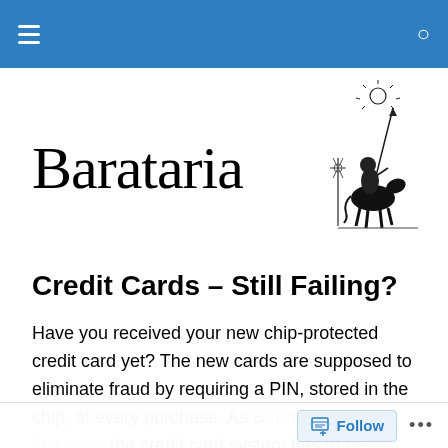Barataria — navigation bar
Barataria
[Figure (illustration): Black and white illustration of Don Quixote on horseback with a lance, windmills in background, sun above]
Credit Cards – Still Failing?
Have you received your new chip-protected credit card yet? The new cards are supposed to eliminate fraud by requiring a PIN, stored in the chip, at every purchase. As Barataria reported last year, the credit card system has to be considered completely compromised after a large number of security breeches at nearly every retailer. The
Follow